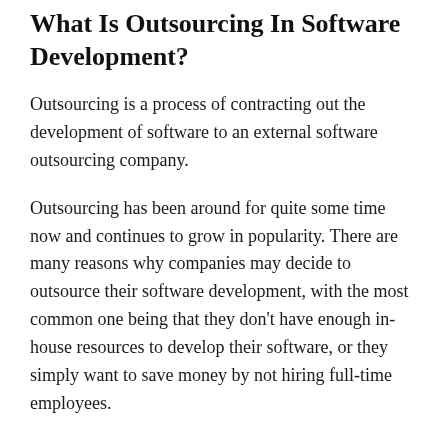What Is Outsourcing In Software Development?
Outsourcing is a process of contracting out the development of software to an external software outsourcing company.
Outsourcing has been around for quite some time now and continues to grow in popularity. There are many reasons why companies may decide to outsource their software development, with the most common one being that they don't have enough in-house resources to develop their software, or they simply want to save money by not hiring full-time employees.